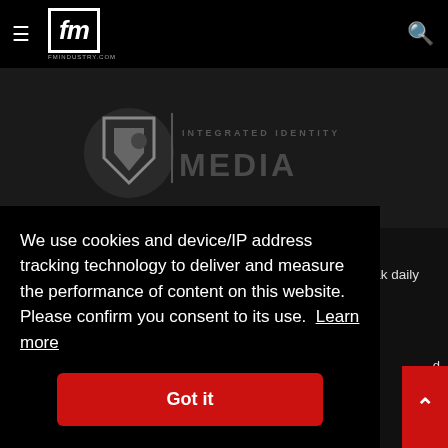fm | fmindustry.com
[Figure (logo): IIM Integrated Identity Media logo with stylized shield/arrow icon and text 'INTEGRATED IDENTITY MEDIA']
About FMIndustry.com
FMIndustry.com is an online destination for up to 6,400* peak daily unique visitors from the facilities management, [continues] d [continues] rs.
We use cookies and device/IP address tracking technology to deliver and measure the performance of content on this website. Please confirm you consent to its use. Learn more
Got it